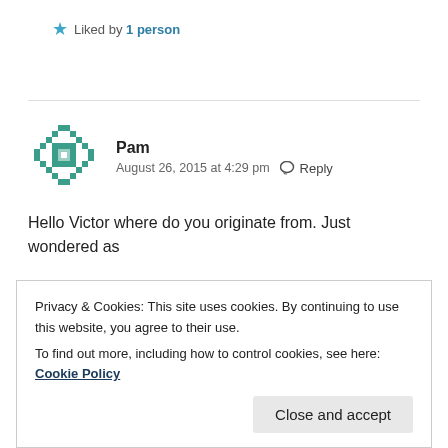Liked by 1 person
[Figure (illustration): Teal/green pixelated snowflake avatar icon for user Pam]
Pam
August 26, 2015 at 4:29 pm  Reply
Hello Victor where do you originate from. Just wondered as
Privacy & Cookies: This site uses cookies. By continuing to use this website, you agree to their use.
To find out more, including how to control cookies, see here: Cookie Policy
Close and accept